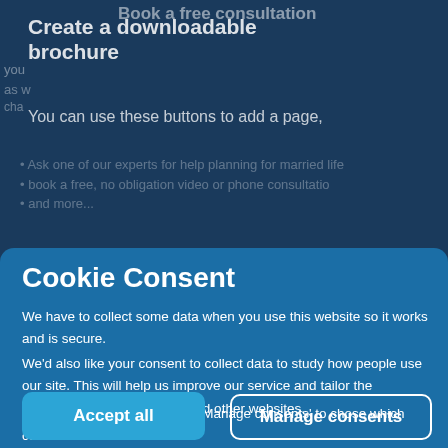Create a downloadable brochure
You can use these buttons to add a page,
Cookie Consent
We have to collect some data when you use this website so it works and is secure.
We'd also like your consent to collect data to study how people use our site. This will help us improve our service and tailor the marketing you see on apps and other websites.
Select 'Accept all' to agree or 'Manage consents' to chose which cookies we use.
Accept all
Manage consents